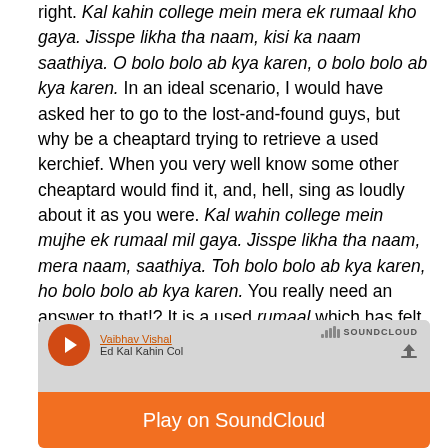right. Kal kahin college mein mera ek rumaal kho gaya. Jisspe likha tha naam, kisi ka naam saathiya. O bolo bolo ab kya karen, o bolo bolo ab kya karen. In an ideal scenario, I would have asked her to go to the lost-and-found guys, but why be a cheaptard trying to retrieve a used kerchief. When you very well know some other cheaptard would find it, and, hell, sing as loudly about it as you were. Kal wahin college mein mujhe ek rumaal mil gaya. Jisspe likha tha naam, mera naam, saathiya. Toh bolo bolo ab kya karen, ho bolo bolo ab kya karen. You really need an answer to that!? It is a used rumaal which has felt some other human person's body fluids and mucus, you fool, JUST DON'T TOUCH IT!
[Figure (screenshot): SoundCloud embedded player widget showing artist 'Vaibhav Vishal', track 'Ed Kal Kahin Col...' with a red play button, SoundCloud logo, and orange 'Play on SoundCloud' button at bottom.]